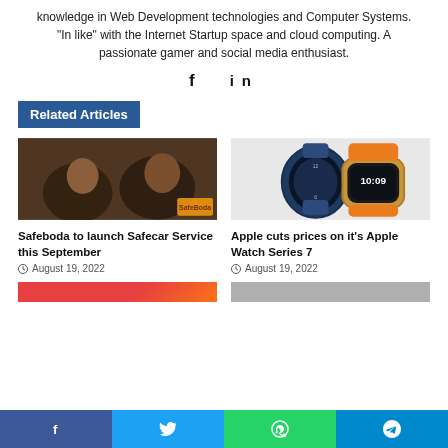knowledge in Web Development technologies and Computer Systems. "In like" with the Internet Startup space and cloud computing. A passionate gamer and social media enthusiast.
[Figure (other): Social media icons: Facebook (f) and LinkedIn (in)]
Related Articles
[Figure (photo): Two men sitting in a car, SafeBoda branded image]
Safeboda to launch Safecar Service this September
August 19, 2022
[Figure (photo): Apple Watch Series 7 showing two watches with different band colors - navy blue and orange]
Apple cuts prices on it's Apple Watch Series 7
August 19, 2022
Share bar: Facebook, Twitter, WhatsApp, Telegram